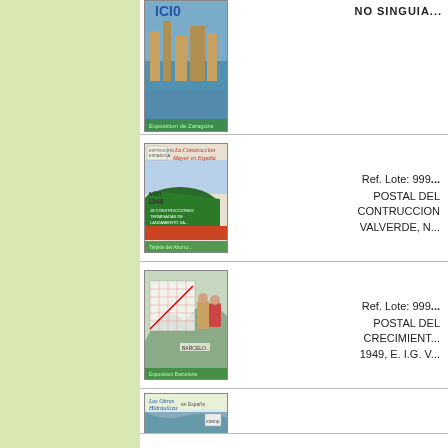[Figure (photo): Postcard image - partial view at top, city/river scene]
[Figure (photo): Postcard: La Construccion Mayor en España, ship launching, Año 1949]
Ref. Lote: 999...
POSTAL DEL CONTRUCCION VALVERDE, N...
[Figure (photo): Postcard: Barcelona, growth chart with couple in traditional dress]
Ref. Lote: 999...
POSTAL DEL CRECIMIENTO 1949, E. I.G. V...
[Figure (photo): Postcard: Las Obras Hidráulicas en España - partial view at bottom]